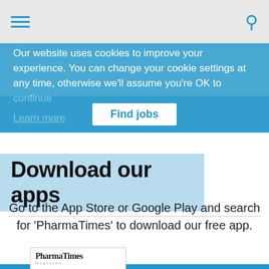Navigation bar with hamburger menu and search icon
Our website uses cookies to improve your experience. You can change your cookie settings at any time, otherwise we'll assume you're OK to continue
Learn more
Find jobs
Download our apps
Go to the App Store or Google Play and search for 'PharmaTimes' to download our free app.
[Figure (illustration): PharmaTimes magazine cover mockup shown on mobile devices]